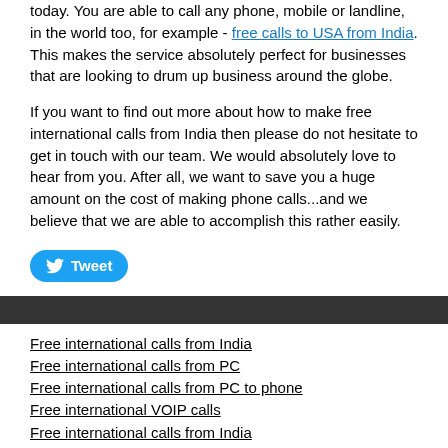today. You are able to call any phone, mobile or landline, in the world too, for example - free calls to USA from India. This makes the service absolutely perfect for businesses that are looking to drum up business around the globe.
If you want to find out more about how to make free international calls from India then please do not hesitate to get in touch with our team. We would absolutely love to hear from you. After all, we want to save you a huge amount on the cost of making phone calls...and we believe that we are able to accomplish this rather easily.
[Figure (other): Tweet button]
Free international calls from India
Free international calls from PC
Free international calls from PC to phone
Free international VOIP calls
Free international calls from India
Free calls to Europe
Free calls to landline
Free international calls from US